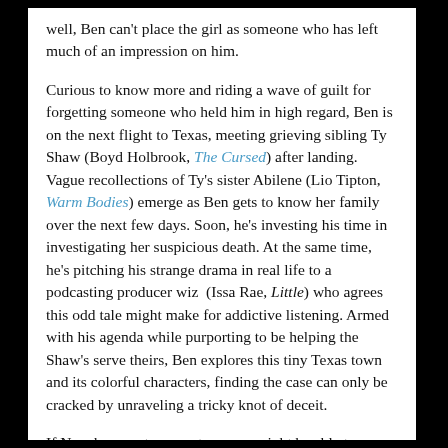well, Ben can't place the girl as someone who has left much of an impression on him.
Curious to know more and riding a wave of guilt for forgetting someone who held him in high regard, Ben is on the next flight to Texas, meeting grieving sibling Ty Shaw (Boyd Holbrook, The Cursed) after landing. Vague recollections of Ty's sister Abilene (Lio Tipton, Warm Bodies) emerge as Ben gets to know her family over the next few days. Soon, he's investing his time in investigating her suspicious death. At the same time, he's pitching his strange drama in real life to a podcasting producer wiz  (Issa Rae, Little) who agrees this odd tale might make for addictive listening. Armed with his agenda while purporting to be helping the Shaw's serve theirs, Ben explores this tiny Texas town and its colorful characters, finding the case can only be cracked by unraveling a tricky knot of deceit.
If Novak was a true amateur, one might be able to forgive how lumpy Vengeance feels throughout. What begins as a mystery eventually curves into examining blue state/red state